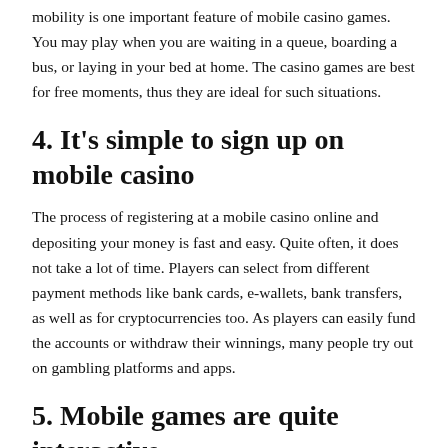mobility is one important feature of mobile casino games. You may play when you are waiting in a queue, boarding a bus, or laying in your bed at home. The casino games are best for free moments, thus they are ideal for such situations.
4. It's simple to sign up on mobile casino
The process of registering at a mobile casino online and depositing your money is fast and easy. Quite often, it does not take a lot of time. Players can select from different payment methods like bank cards, e-wallets, bank transfers, as well as for cryptocurrencies too. As players can easily fund the accounts or withdraw their winnings, many people try out on gambling platforms and apps.
5. Mobile games are quite interactive
Another important reason why mobile games have a hold on this industry is you will get a complete hold on the games that you want to play. Because of this touchscreen dynamic, the games are very tactile. Even though tapping, shaking, and swiping are not quite the